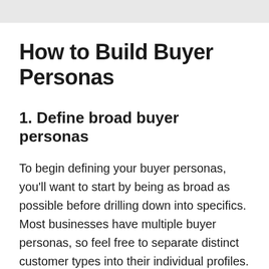How to Build Buyer Personas
1. Define broad buyer personas
To begin defining your buyer personas, you'll want to start by being as broad as possible before drilling down into specifics. Most businesses have multiple buyer personas, so feel free to separate distinct customer types into their individual profiles.